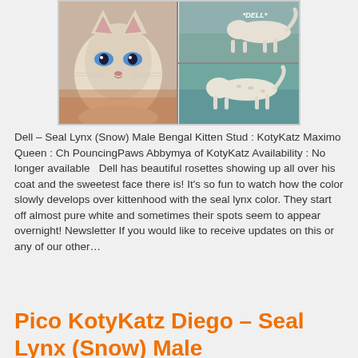[Figure (photo): Three photos of Dell, a Seal Lynx (Snow) Male Bengal kitten, showing close-up face with blue eyes and two side-profile walking shots on teal couch, with '*DELL*' text overlay]
Dell – Seal Lynx (Snow) Male Bengal Kitten Stud : KotyKatz Maximo Queen : Ch PouncingPaws Abbymya of KotyKatz Availability : No longer available   Dell has beautiful rosettes showing up all over his coat and the sweetest face there is! It's so fun to watch how the color slowly develops over kittenhood with the seal lynx color. They start off almost pure white and sometimes their spots seem to appear overnight! Newsletter If you would like to receive updates on this or any of our other…
Pico KotyKatz Diego – Seal Lynx (Snow) Male